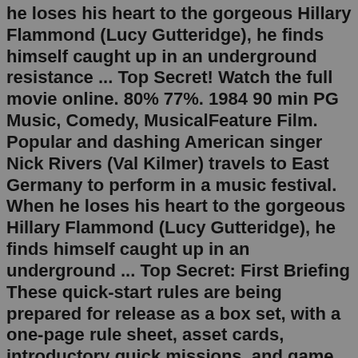he loses his heart to the gorgeous Hillary Flammond (Lucy Gutteridge), he finds himself caught up in an underground resistance ... Top Secret! Watch the full movie online. 80% 77%. 1984 90 min PG Music, Comedy, MusicalFeature Film. Popular and dashing American singer Nick Rivers (Val Kilmer) travels to East Germany to perform in a music festival. When he loses his heart to the gorgeous Hillary Flammond (Lucy Gutteridge), he finds himself caught up in an underground ... Top Secret: First Briefing These quick-start rules are being prepared for release as a box set, with a one-page rule sheet, asset cards, introductory quick missions, and game mats. While the box set is in development, you can download the quick start "First Briefing" rules as a free PDF. Final text is subject to change as this is play-tested.Dec 21, 2018 · The Army created the top-secret Manhattan Project—named for the project's original office in New York City. The first order of business for the Manhattan Project's newly appointed director, Gen. Leslie Groves, was acquiring land for the uranium